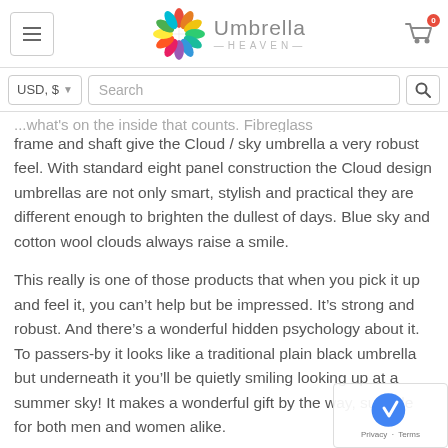Umbrella Heaven
frame and shaft give the Cloud / sky umbrella a very robust feel. With standard eight panel construction the Cloud design umbrellas are not only smart, stylish and practical they are different enough to brighten the dullest of days. Blue sky and cotton wool clouds always raise a smile.
This really is one of those products that when you pick it up and feel it, you can't help but be impressed. It's strong and robust. And there's a wonderful hidden psychology about it. To passers-by it looks like a traditional plain black umbrella but underneath it you'll be quietly smiling looking up at a summer sky! It makes a wonderful gift by the way, suitable for both men and women alike.